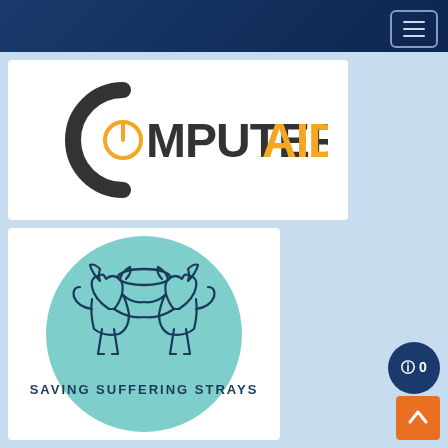Navigation header with menu button
[Figure (logo): ComputerAid logo: large dark grey letter C with a yellow/orange power button icon replacing the gap, followed by bold text 'MPUTERAID' where 'AID' is in yellow/orange and 'MPUT-ER' is in dark charcoal]
[Figure (logo): Saving Suffering Strays logo: teal circle with outline drawing of two dogs facing away with a halo above them, text 'SAVING SUFFERING STRAYS' at the bottom]